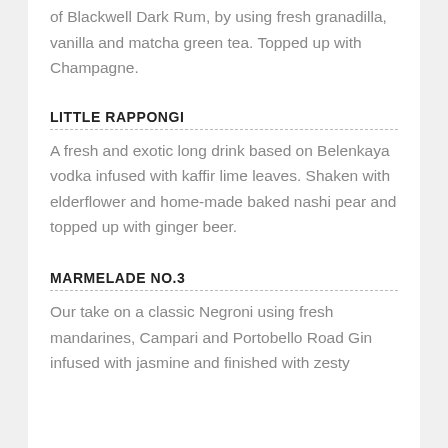of Blackwell Dark Rum, by using fresh granadilla, vanilla and matcha green tea. Topped up with Champagne.
LITTLE RAPPONGI
A fresh and exotic long drink based on Belenkaya vodka infused with kaffir lime leaves. Shaken with elderflower and home-made baked nashi pear and topped up with ginger beer.
MARMELADE NO.3
Our take on a classic Negroni using fresh mandarines, Campari and Portobello Road Gin infused with jasmine and finished with zesty